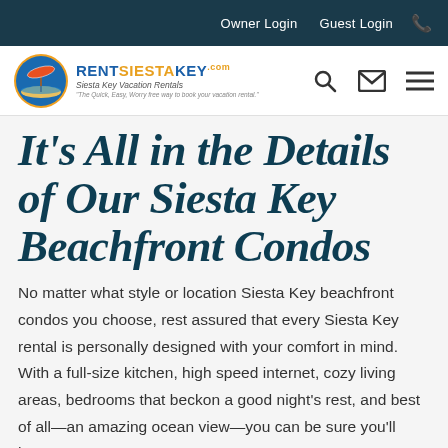Owner Login  Guest Login  📞
[Figure (logo): Rent Siesta Key logo with beach umbrella icon and text 'Siesta Key Vacation Rentals']
It's All in the Details of Our Siesta Key Beachfront Condos
No matter what style or location Siesta Key beachfront condos you choose, rest assured that every Siesta Key rental is personally designed with your comfort in mind. With a full-size kitchen, high speed internet, cozy living areas, bedrooms that beckon a good night's rest, and best of all—an amazing ocean view—you can be sure you'll have